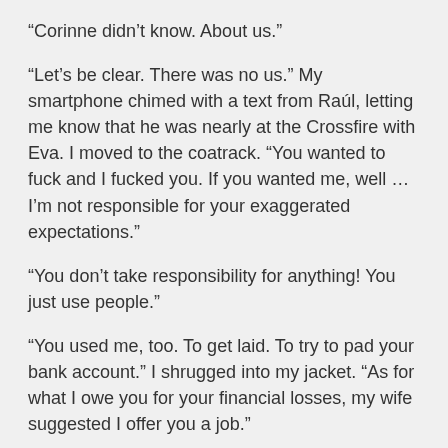“Corinne didn’t know. About us.”
“Let’s be clear. There was no us.” My smartphone chimed with a text from Raúl, letting me know that he was nearly at the Crossfire with Eva. I moved to the coatrack. “You wanted to fuck and I fucked you. If you wanted me, well … I’m not responsible for your exaggerated expectations.”
“You don’t take responsibility for anything! You just use people.”
“You used me, too. To get laid. To try to pad your bank account.” I shrugged into my jacket. “As for what I owe you for your financial losses, my wife suggested I offer you a job.”
Her dark eyes widened. “You’re kidding.”